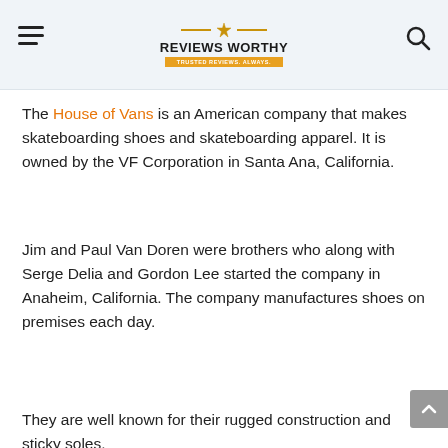REVIEWS WORTHY – Trusted Reviews, Always
The House of Vans is an American company that makes skateboarding shoes and skateboarding apparel. It is owned by the VF Corporation in Santa Ana, California.
Jim and Paul Van Doren were brothers who along with Serge Delia and Gordon Lee started the company in Anaheim, California. The company manufactures shoes on premises each day.
They are well known for their rugged construction and sticky soles.